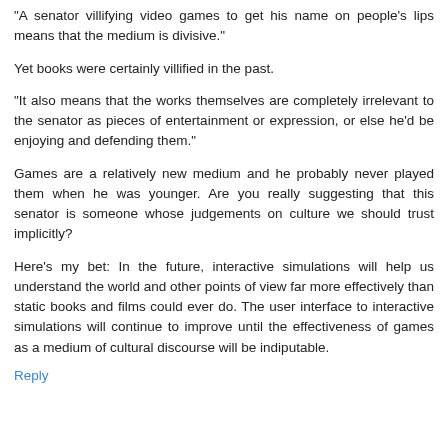"A senator villifying video games to get his name on people's lips means that the medium is divisive."
Yet books were certainly villified in the past.
"It also means that the works themselves are completely irrelevant to the senator as pieces of entertainment or expression, or else he'd be enjoying and defending them."
Games are a relatively new medium and he probably never played them when he was younger. Are you really suggesting that this senator is someone whose judgements on culture we should trust implicitly?
Here's my bet: In the future, interactive simulations will help us understand the world and other points of view far more effectively than static books and films could ever do. The user interface to interactive simulations will continue to improve until the effectiveness of games as a medium of cultural discourse will be indiputable.
Reply